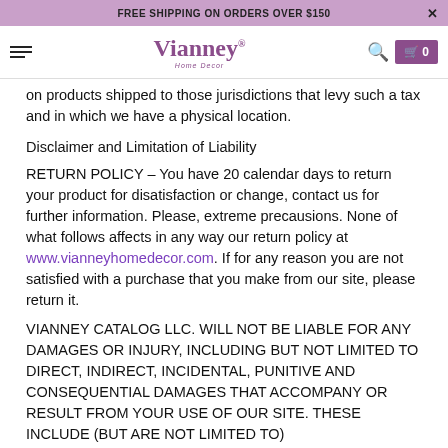FREE SHIPPING ON ORDERS OVER $150
[Figure (logo): Vianney Home Decor logo with navigation bar including hamburger menu, search icon, and cart]
on products shipped to those jurisdictions that levy such a tax and in which we have a physical location.
Disclaimer and Limitation of Liability
RETURN POLICY - You have 20 calendar days to return your product for disatisfaction or change, contact us for further information. Please, extreme precausions. None of what follows affects in any way our return policy at www.vianneyhomedecor.com. If for any reason you are not satisfied with a purchase that you make from our site, please return it.
VIANNEY CATALOG LLC. WILL NOT BE LIABLE FOR ANY DAMAGES OR INJURY, INCLUDING BUT NOT LIMITED TO DIRECT, INDIRECT, INCIDENTAL, PUNITIVE AND CONSEQUENTIAL DAMAGES THAT ACCOMPANY OR RESULT FROM YOUR USE OF OUR SITE. THESE INCLUDE (BUT ARE NOT LIMITED TO)